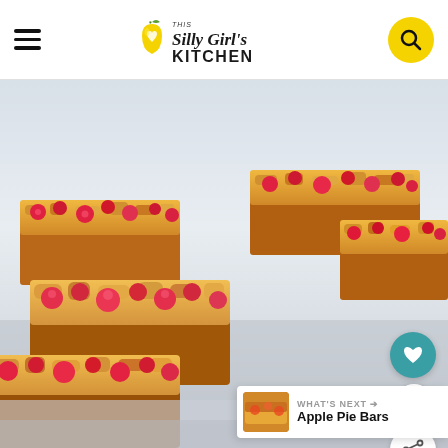This Silly Girl's Kitchen
[Figure (photo): A pile of raspberry crumble bars with golden oat crust and bright red raspberry filling, stacked on a light surface, food photography style.]
WHAT'S NEXT → Apple Pie Bars